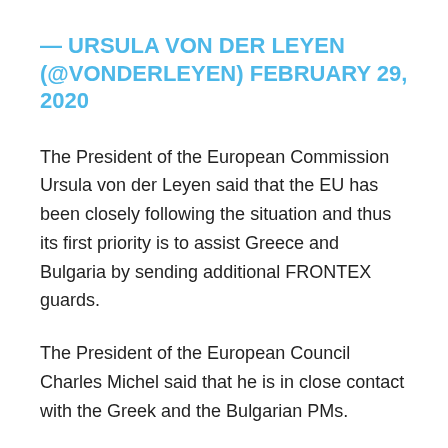— URSULA VON DER LEYEN (@VONDERLEYEN) FEBRUARY 29, 2020
The President of the European Commission Ursula von der Leyen said that the EU has been closely following the situation and thus its first priority is to assist Greece and Bulgaria by sending additional FRONTEX guards.
The President of the European Council Charles Michel said that he is in close contact with the Greek and the Bulgarian PMs.
10,000 People Pushed Back By Greece